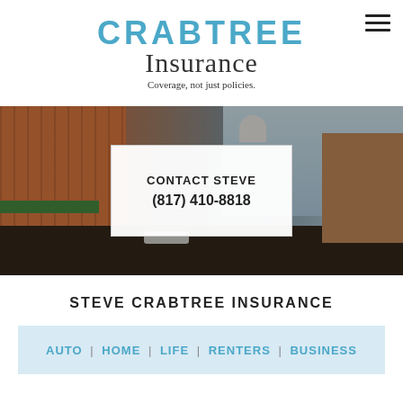CRABTREE Insurance
Coverage, not just policies.
[Figure (photo): Street scene of a small town with brick buildings, green awnings, and blue sky in background. An overlay box reads CONTACT STEVE (817) 410-8818]
CONTACT STEVE
(817) 410-8818
STEVE CRABTREE INSURANCE
AUTO | HOME | LIFE | RENTERS | BUSINESS